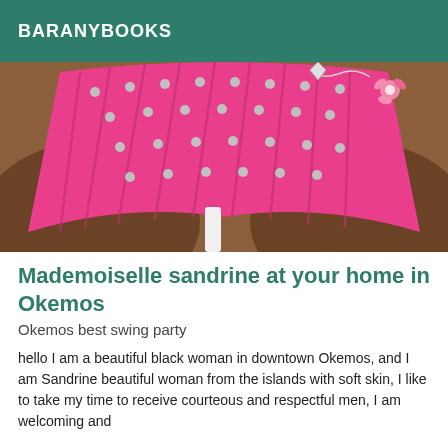BARANYBOOKS
[Figure (photo): Close-up photo of a person wearing a bedazzled hot pink outfit with silver studs and a decorative pink flower accessory with chain.]
Mademoiselle sandrine at your home in Okemos
Okemos best swing party
hello I am a beautiful black woman in downtown Okemos, and I am Sandrine beautiful woman from the islands with soft skin, I like to take my time to receive courteous and respectful men, I am welcoming and